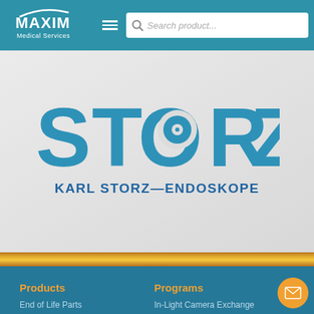[Figure (logo): Maxim Medical Services logo in white on teal navigation bar]
[Figure (screenshot): Navigation bar with hamburger menu and search box reading 'Search product...']
[Figure (logo): KARL STORZ ENDOSKOPE logo - large blue STORZ text with target/lens symbol in the O, and subtitle KARL STORZ—ENDOSKOPE]
Products
End of Life Parts
Programs
In-Light Camera Exchange